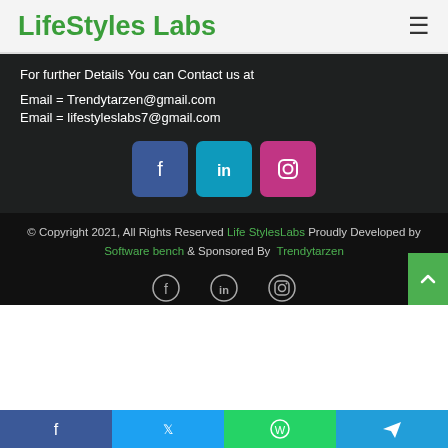LifeStyles Labs
For further Details You can Contact us at
Email = Trendytarzen@gmail.com
Email = lifestyleslabs7@gmail.com
[Figure (infographic): Three social media icon buttons: Facebook (blue), LinkedIn (cyan), Instagram (pink/magenta)]
© Copyright 2021, All Rights Reserved Life StylesLabs Proudly Developed by Software bench & Sponsored By Trendytarzen
[Figure (infographic): Three outline social media icons: Facebook, LinkedIn, Instagram]
[Figure (infographic): Bottom share bar with four icons: Facebook (blue), Twitter (light blue), WhatsApp (green), Telegram (cyan)]